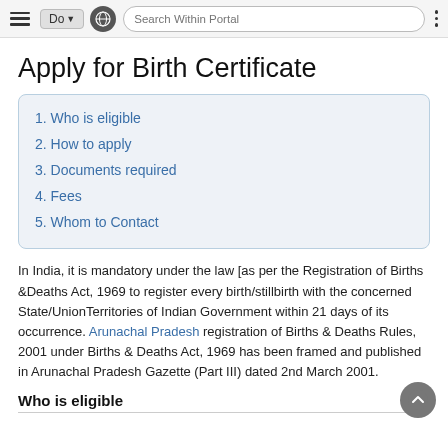Do | [Globe] | Search Within Portal | [Menu]
Apply for Birth Certificate
1. Who is eligible
2. How to apply
3. Documents required
4. Fees
5. Whom to Contact
In India, it is mandatory under the law [as per the Registration of Births &Deaths Act, 1969 to register every birth/stillbirth with the concerned State/UnionTerritories of Indian Government within 21 days of its occurrence. Arunachal Pradesh registration of Births & Deaths Rules, 2001 under Births & Deaths Act, 1969 has been framed and published in Arunachal Pradesh Gazette (Part III) dated 2nd March 2001.
Who is eligible